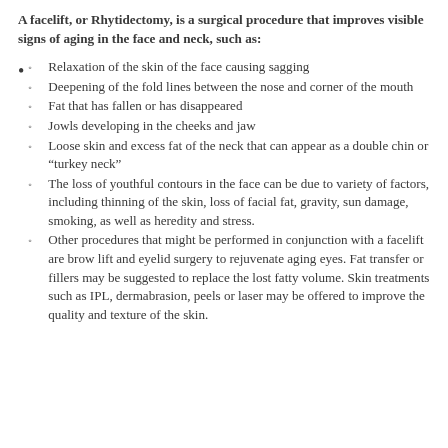A facelift, or Rhytidectomy, is a surgical procedure that improves visible signs of aging in the face and neck, such as:
Relaxation of the skin of the face causing sagging
Deepening of the fold lines between the nose and corner of the mouth
Fat that has fallen or has disappeared
Jowls developing in the cheeks and jaw
Loose skin and excess fat of the neck that can appear as a double chin or “turkey neck”
The loss of youthful contours in the face can be due to variety of factors, including thinning of the skin, loss of facial fat, gravity, sun damage, smoking, as well as heredity and stress.
Other procedures that might be performed in conjunction with a facelift are brow lift and eyelid surgery to rejuvenate aging eyes. Fat transfer or fillers may be suggested to replace the lost fatty volume. Skin treatments such as IPL, dermabrasion, peels or laser may be offered to improve the quality and texture of the skin.